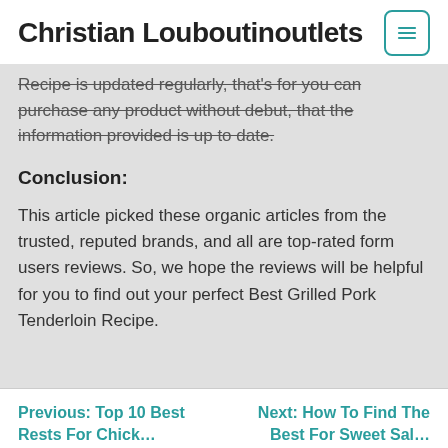Christian Louboutinoutlets
Recipe is updated regularly, that's for you can purchase any product without debut, that the information provided is up to date.
Conclusion:
This article picked these organic articles from the trusted, reputed brands, and all are top-rated form users reviews. So, we hope the reviews will be helpful for you to find out your perfect Best Grilled Pork Tenderloin Recipe.
Previous: Top 10 Best... | Next: How To Find The...